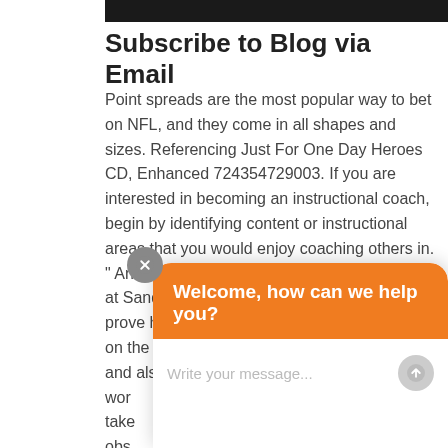Subscribe to Blog via Email
Point spreads are the most popular way to bet on NFL, and they come in all shapes and sizes. Referencing Just For One Day Heroes CD, Enhanced 724354729003. If you are interested in becoming an instructional coach, begin by identifying content or instructional areas that you would enjoy coaching others in. " And an insurance company throwing money at Sanders for commercials certainly does not prove his point. Michelle definitely has a finger on the pulse of what people leaders need/want and also around the cha… wor… take… obs… tea… actions that the teacher takes, and how the students
[Figure (screenshot): Chat widget overlay with orange header saying 'Welcome, how can we help you?' and a 'Write your message...' input area, plus a close button (X) in gray circle.]